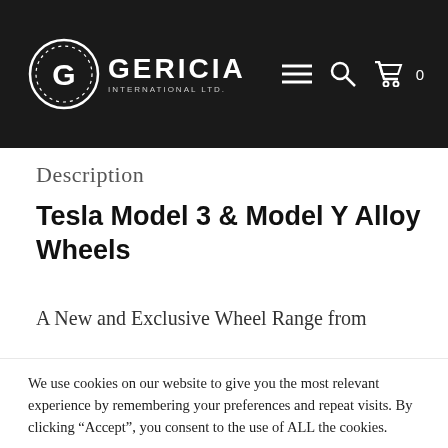[Figure (logo): Gericia International Ltd. logo with circular G emblem in white on dark background, with navigation icons (hamburger menu, search, cart with 0)]
Description
Tesla Model 3 & Model Y Alloy Wheels
A New and Exclusive Wheel Range from
We use cookies on our website to give you the most relevant experience by remembering your preferences and repeat visits. By clicking “Accept”, you consent to the use of ALL the cookies.
ACCEPT